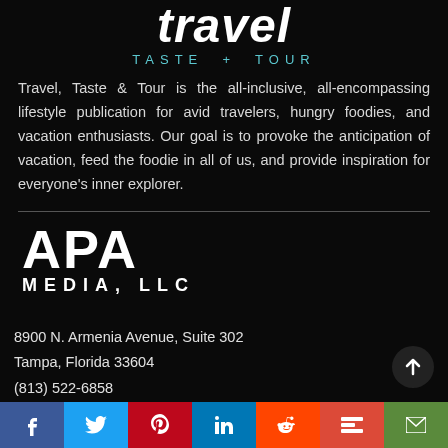travel TASTE + TOUR
Travel, Taste & Tour is the all-inclusive, all-encompassing lifestyle publication for avid travelers, hungry foodies, and vacation enthusiasts. Our goal is to provoke the anticipation of vacation, feed the foodie in all of us, and provide inspiration for everyone's inner explorer.
[Figure (logo): APA Media, LLC logo in white on black background]
8900 N. Armenia Avenue, Suite 302
Tampa, Florida 33604
(813) 522-6858
info@traveltasteandtour.com
[Figure (infographic): Social media share bar with Facebook, Twitter, Pinterest, LinkedIn, Reddit, Mix, and Email buttons]